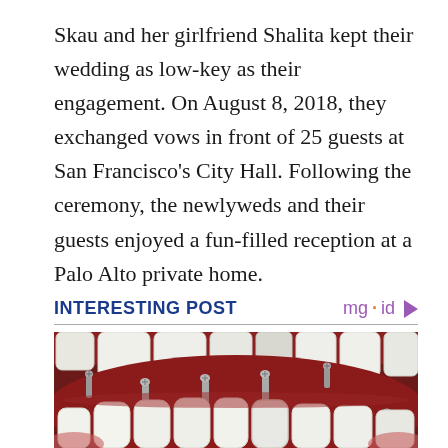Skau and her girlfriend Shalita kept their wedding as low-key as their engagement. On August 8, 2018, they exchanged vows in front of 25 guests at San Francisco's City Hall. Following the ceremony, the newlyweds and their guests enjoyed a fun-filled reception at a Palo Alto private home.
INTERESTING POST
[Figure (photo): Close-up medical/dental illustration showing dental implants with screw posts embedded in gum tissue, with white ceramic tooth crowns above and below.]